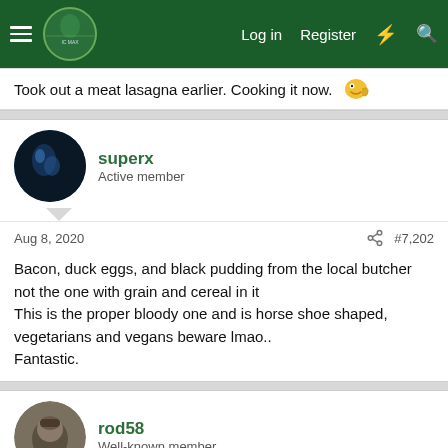Log in  Register
Took out a meat lasagna earlier. Cooking it now.
superx
Active member
Aug 8, 2020  #7,202
Bacon, duck eggs, and black pudding from the local butcher not the one with grain and cereal in it
This is the proper bloody one and is horse shoe shaped, vegetarians and vegans beware lmao..
Fantastic.
rod58
Well-known member
Aug 9, 2020  #7,203